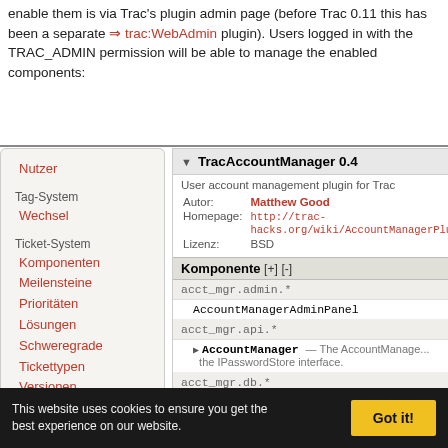enable them is via Trac's plugin admin page (before Trac 0.11 this has been a separate ⇒ trac:WebAdmin plugin). Users logged in with the TRAC_ADMIN permission will be able to manage the enabled components:
Nutzer
Tag-System / Wechsel
Ticket-System: Komponenten, Meilensteine, Prioritäten, Lösungen, Schweregrade, Tickettypen, Versionen
Versionsverwaltung / Repositorys
TracAccountManager 0.4
User account management plugin for Trac
| Field | Value |
| --- | --- |
| Autor: | Matthew Good |
| Homepage: | http://trac-hacks.org/wiki/AccountManagerPlu... |
| Lizenz: | BSD |
Komponente [+] [-]
acct_mgr.admin.*
AccountManagerAdminPanel
acct_mgr.api.*
▶ AccountManager — The AccountManager... the IPasswordStore interface.
acct_mgr.db.*
SessionStore
acct_mgr.guard.*
▶ AccountGuard — The AccountGuard co...
acct_mgr.htfile.*
▶ HtDigestStore — Manages user accou...
▶ HtPasswdStore — Manages user accou...
This website uses cookies to ensure you get the best experience on our website.